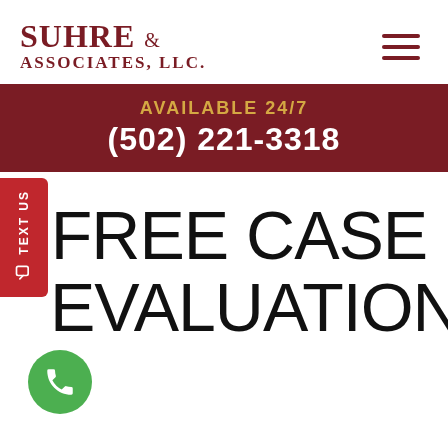SUHRE & ASSOCIATES, LLC
AVAILABLE 24/7
(502) 221-3318
FREE CASE EVALUATION
[Figure (other): Green circular phone call button icon at bottom left]
[Figure (other): Red vertical TEXT US tab on left side with phone icon]